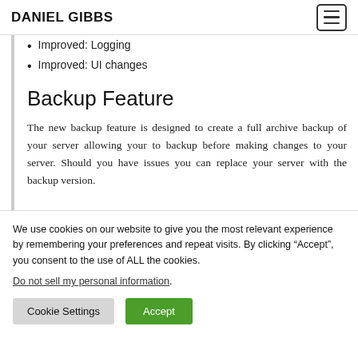DANIEL GIBBS
Improved: Logging
Improved: UI changes
Backup Feature
The new backup feature is designed to create a full archive backup of your server allowing your to backup before making changes to your server. Should you have issues you can replace your server with the backup version.
We use cookies on our website to give you the most relevant experience by remembering your preferences and repeat visits. By clicking “Accept”, you consent to the use of ALL the cookies.
Do not sell my personal information.